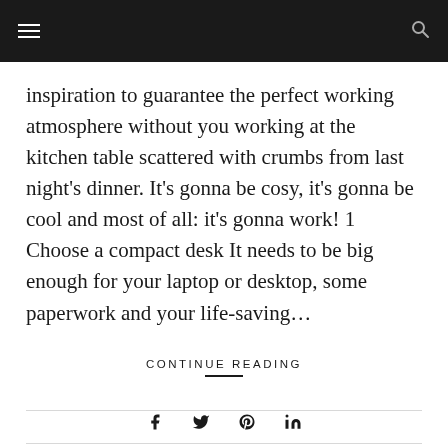[navigation bar with hamburger menu and search icon]
inspiration to guarantee the perfect working atmosphere without you working at the kitchen table scattered with crumbs from last night's dinner. It's gonna be cosy, it's gonna be cool and most of all: it's gonna work! 1 Choose a compact desk It needs to be big enough for your laptop or desktop, some paperwork and your life-saving…
CONTINUE READING
By STORIESBYDECOVRY